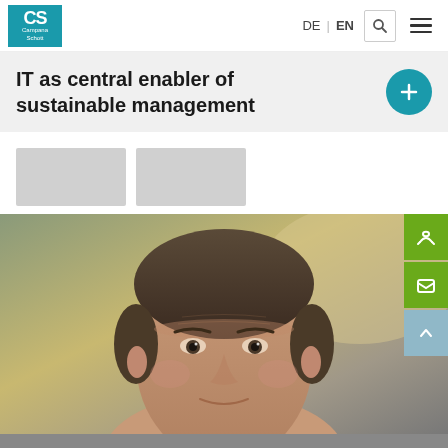CS Campana Schott — DE | EN — navigation header
IT as central enabler of sustainable management
[Figure (photo): Two small thumbnail images of article previews, shown as grey placeholder boxes]
[Figure (photo): Portrait photo of a man (close-up of face and head) with short brown hair, outdoor/office background]